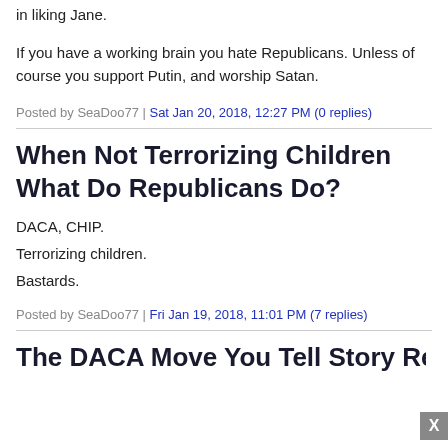in liking Jane.
If you have a working brain you hate Republicans. Unless of course you support Putin, and worship Satan.
Posted by SeaDoo77 | Sat Jan 20, 2018, 12:27 PM (0 replies)
When Not Terrorizing Children What Do Republicans Do?
DACA, CHIP.
Terrorizing children.
Bastards.
Posted by SeaDoo77 | Fri Jan 19, 2018, 11:01 PM (7 replies)
The DACA Move You Tell Story Republicans...